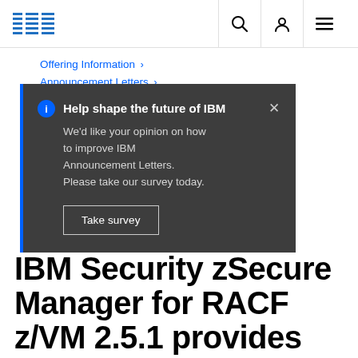IBM
Offering Information >
Announcement Letters >
Help shape the future of IBM
We'd like your opinion on how to improve IBM Announcement Letters. Please take our survey today.
Take survey
IBM Security zSecure Manager for RACF z/VM 2.5.1 provides near real-time feeds of RACF SMF event codes to IBM